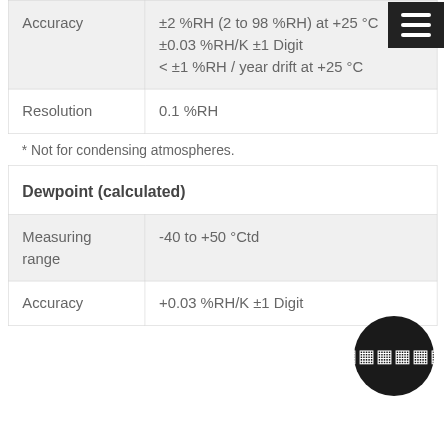|  |  |
| --- | --- |
| Accuracy | ±2 %RH (2 to 98 %RH) at +25 °C
±0.03 %RH/K ±1 Digit
< ±1 %RH / year drift at +25 °C |
| Resolution | 0.1 %RH |
* Not for condensing atmospheres.
| Dewpoint (calculated) |  |
| --- | --- |
| Measuring range | -40 to +50 °Ctd |
| Accuracy | +0.03 %RH/K ±1 Digit |